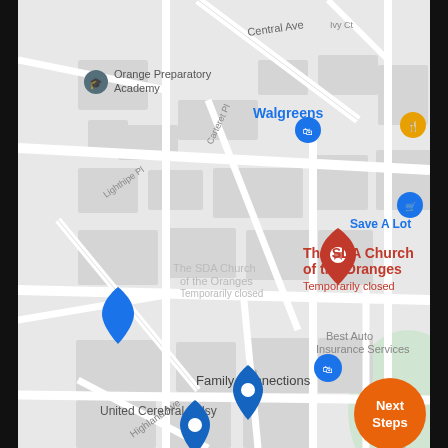[Figure (map): Google Maps screenshot showing The SDA Church of the Oranges (marked with red pin, Temporarily closed), surrounding streets including Central Ave, Highland Ave, Ogden St, Olcott St, Carteret Pl, Lighthipe Pl, and nearby locations: Orange Preparatory Academy, Walgreens, Save A Lot, Best Auto Insurance Services, Family Connections, United Cerebral Palsy. An orange 'Next Steps' button appears in the bottom right corner.]